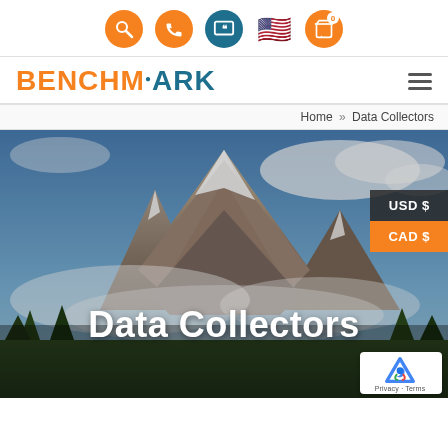[Figure (screenshot): Navigation icon bar with search (orange circle), phone (orange circle), quote/message (teal circle), US flag, and shopping cart (orange circle with badge 0)]
[Figure (logo): Benchmark logo: BENCH in orange, M with dot above in orange/teal, ARK in teal, with hamburger menu icon on right]
Home » Data Collectors
[Figure (photo): Hero image of a snow-capped mountain with clouds, overlaid with USD $ and CAD $ currency selector buttons, and a large white bold title 'Data Collectors' at the bottom, with a reCAPTCHA badge in the lower right corner]